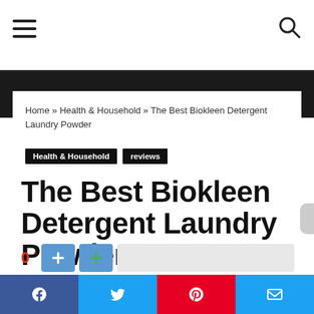Home » Health & Household » The Best Biokleen Detergent Laundry Powder
Health & Household
reviews
The Best Biokleen Detergent Laundry Powder
jumpgatelink • July 16, 2020  3
Facebook Twitter Pinterest Email